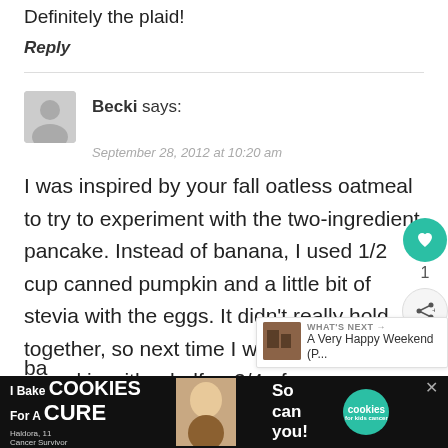Definitely the plaid!
Reply
Becki says:
September 28, 2012 at 10:20 am
I was inspired by your fall oatless oatmeal to try to experiment with the two-ingredient pancake. Instead of banana, I used 1/2 cup canned pumpkin and a little bit of stevia with the eggs. It didn't really hold together, so next time I would use 1/4 cup pumpkin with a half or 3/4 of a banana...